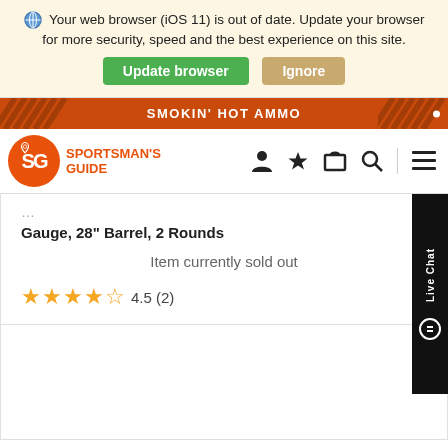Your web browser (iOS 11) is out of date. Update your browser for more security, speed and the best experience on this site.
Update browser   Ignore
SMOKIN' HOT AMMO
[Figure (logo): Sportsman's Guide logo with SG initials in orange circle]
Gauge, 28" Barrel, 2 Rounds
Item currently sold out
4.5 (2)